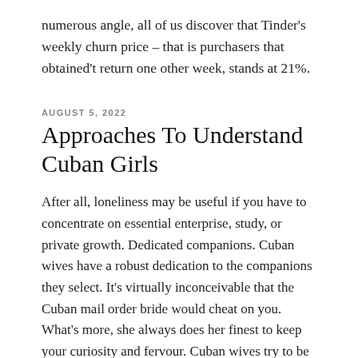numerous angle, all of us discover that Tinder's weekly churn price – that is purchasers that obtained't return one other week, stands at 21%.
AUGUST 5, 2022
Approaches To Understand Cuban Girls
After all, loneliness may be useful if you have to concentrate on essential enterprise, study, or private growth. Dedicated companions. Cuban wives have a robust dedication to the companions they select. It's virtually inconceivable that the Cuban mail order bride would cheat on you. What's more, she always does her finest to keep your curiosity and fervour. Cuban wives try to be a best pal to you to understand and advise. They're supportive, no matter happens in your life. If Cuban mail order bride noticed your love and caring, she would return